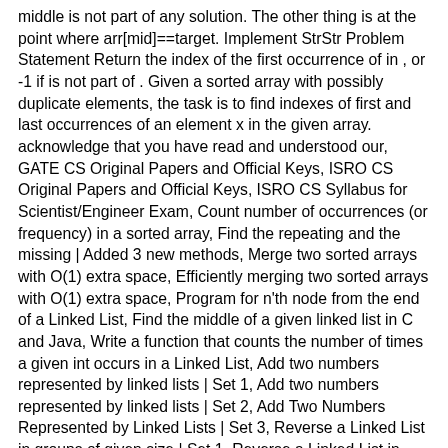middle is not part of any solution. The other thing is at the point where arr[mid]==target. Implement StrStr Problem Statement Return the index of the first occurrence of in , or -1 if is not part of . Given a sorted array with possibly duplicate elements, the task is to find indexes of first and last occurrences of an element x in the given array. acknowledge that you have read and understood our, GATE CS Original Papers and Official Keys, ISRO CS Original Papers and Official Keys, ISRO CS Syllabus for Scientist/Engineer Exam, Count number of occurrences (or frequency) in a sorted array, Find the repeating and the missing | Added 3 new methods, Merge two sorted arrays with O(1) extra space, Efficiently merging two sorted arrays with O(1) extra space, Program for n'th node from the end of a Linked List, Find the middle of a given linked list in C and Java, Write a function that counts the number of times a given int occurs in a Linked List, Add two numbers represented by linked lists | Set 1, Add two numbers represented by linked lists | Set 2, Add Two Numbers Represented by Linked Lists | Set 3, Reverse a Linked List in groups of given size | Set 1, Reverse a Linked List in groups of given size | Set 2, Reverse alternate K nodes in a Singly Linked List, Alternate Odd and Even Nodes in a Singly Linked List, Alternating split of a given Singly Linked List | Set 1, Write a program to reverse an array or string, Count number of occurrences in a sorted array, Finding the maximum square sub-matrix with all equal elements